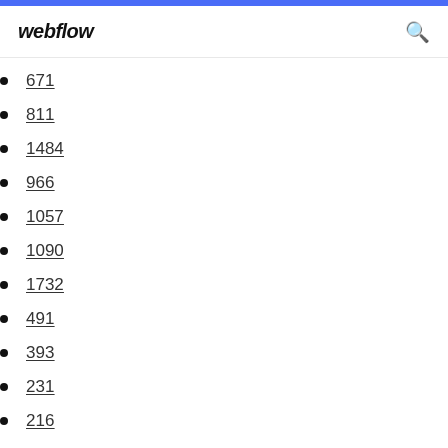webflow
671
811
1484
966
1057
1090
1732
491
393
231
216
289